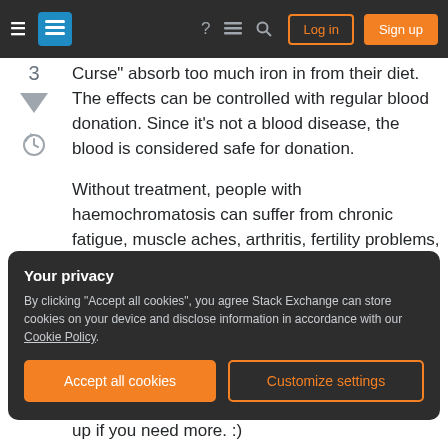Stack Exchange navigation bar with Log in and Sign up buttons
Curse" absorb too much iron in from their diet. The effects can be controlled with regular blood donation. Since it's not a blood disease, the blood is considered safe for donation.
Without treatment, people with haemochromatosis can suffer from chronic fatigue, muscle aches, arthritis, fertility problems, and cancer. Regular donation is part of the treatment.
It might be a casual thing, or your vampires could
Your privacy
By clicking "Accept all cookies", you agree Stack Exchange can store cookies on your device and disclose information in accordance with our Cookie Policy.
up if you need more. :)